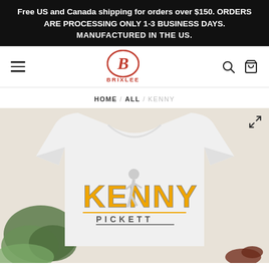Free US and Canada shipping for orders over $150. ORDERS ARE PROCESSING ONLY 1-3 BUSINESS DAYS.
MANUFACTURED IN THE US.
[Figure (logo): Brixlee brand logo - red B in circle with BRIXLEE text below]
HOME / ALL / KENNY
[Figure (photo): White t-shirt with Kenny Pickett graphic design showing yellow block letters KENNY with PICKETT below, featuring a football player silhouette, displayed on a beige surface with greenery and sunglasses nearby]